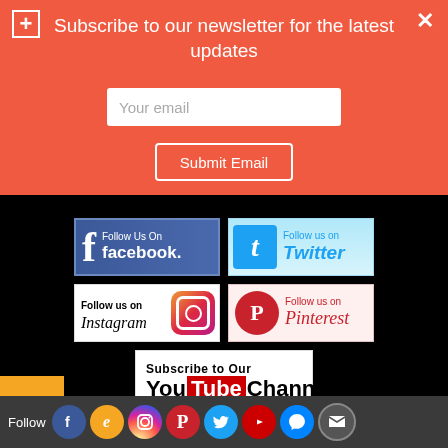Subscribe to our newsletter for the latest updates
Your email
Submit Email
[Figure (logo): Follow Us On Facebook button with Facebook logo]
[Figure (logo): Follow us on Twitter button with Twitter bird logo]
[Figure (logo): Follow us on Instagram button with Instagram icon]
[Figure (logo): Follow us on Pinterest button with Pinterest logo]
[Figure (logo): Subscribe to Our YouTube Channel button]
Follow [Facebook] [E] [Instagram] [Pinterest] [Twitter] [YouTube] [Messenger] [Email]